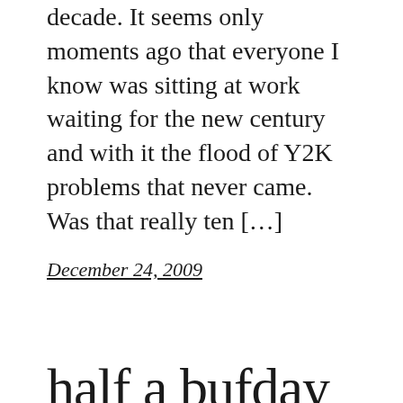decade. It seems only moments ago that everyone I know was sitting at work waiting for the new century and with it the flood of Y2K problems that never came. Was that really ten […]
December 24, 2009
half a bufday to you
For various reasons, the birthday party plan I had